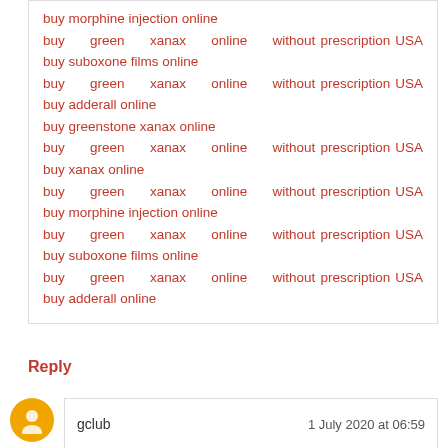buy morphine injection online
buy green xanax online without prescription USA
buy suboxone films online
buy green xanax online without prescription USA
buy adderall online
buy greenstone xanax online
buy green xanax online without prescription USA
buy xanax online
buy green xanax online without prescription USA
buy morphine injection online
buy green xanax online without prescription USA
buy suboxone films online
buy green xanax online without prescription USA
buy adderall online
Reply
gclub   1 July 2020 at 06:59